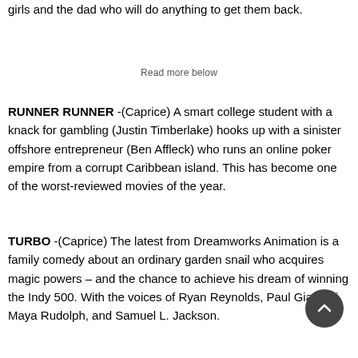girls and the dad who will do anything to get them back.
Read more below
RUNNER RUNNER -(Caprice) A smart college student with a knack for gambling (Justin Timberlake) hooks up with a sinister offshore entrepreneur (Ben Affleck) who runs an online poker empire from a corrupt Caribbean island. This has become one of the worst-reviewed movies of the year.
TURBO -(Caprice) The latest from Dreamworks Animation is a family comedy about an ordinary garden snail who acquires magic powers – and the chance to achieve his dream of winning the Indy 500. With the voices of Ryan Reynolds, Paul Giamatti, Maya Rudolph, and Samuel L. Jackson.